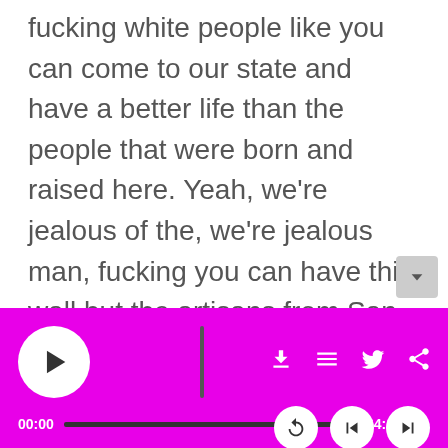fucking white people like you can come to our state and have a better life than the people that were born and raised here. Yeah, we’re jealous of the, we’re jealous man, fucking you can have this wall but the artisans from San Francisco can’t. Yeah, we’re jealous bro. Alright I don’t have all day for this.”
[Figure (other): Audio player interface with magenta/pink background. Includes play button (white circle with triangle), vertical scrubber bar, download/list/twitter/share icons, time display showing 00:00 and 64:13, progress bar, mute icon, and playback controls (replay, skip back, skip forward) as white circles.]